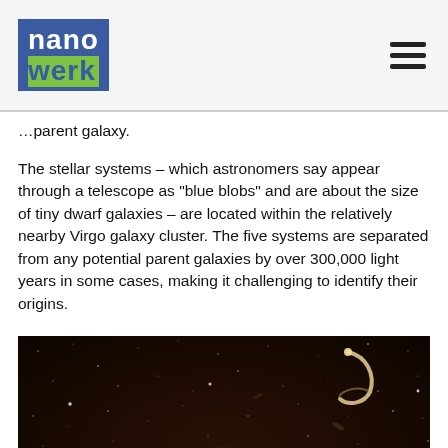nanowerk
parent galaxy.
The stellar systems – which astronomers say appear through a telescope as "blue blobs" and are about the size of tiny dwarf galaxies – are located within the relatively nearby Virgo galaxy cluster. The five systems are separated from any potential parent galaxies by over 300,000 light years in some cases, making it challenging to identify their origins.
[Figure (photo): A deep space telescope image showing a dark star field with numerous faint stars and galaxies scattered across a dark brown-black background. A bright blue compact star cluster is visible near the center, and a distinctive curved/ring-shaped galaxy or stellar structure appears in the upper right.]